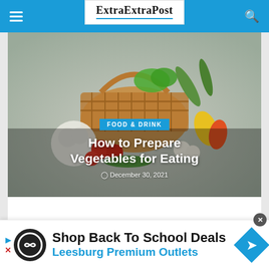ExtraExtraPost
[Figure (photo): Hero image of a basket of fresh vegetables including tomatoes, cauliflower, peppers, cucumbers, garlic, and leafy greens arranged on a grey background, with overlay text showing category badge, article title, and date.]
How to Prepare Vegetables for Eating
FOOD & DRINK — December 30, 2021
[Figure (screenshot): Advertisement banner: Shop Back To School Deals - Leesburg Premium Outlets, with Leesburg logo circle and navigation arrow icon. infolinks badge visible at top left of search bar.]